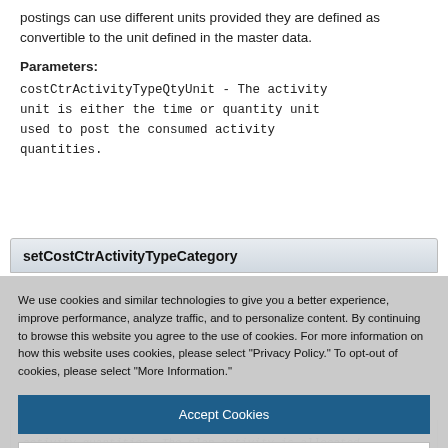postings can use different units provided they are defined as convertible to the unit defined in the master data.
Parameters:
costCtrActivityTypeQtyUnit - The activity unit is either the time or quantity unit used to post the consumed activity quantities.
setCostCtrActivityTypeCategory
We use cookies and similar technologies to give you a better experience, improve performance, analyze traffic, and to personalize content. By continuing to browse this website you agree to the use of cookies. For more information on how this website uses cookies, please select "Privacy Policy." To opt-out of cookies, please select "More Information."
Accept Cookies
More Information
Privacy Policy | Powered by: TrustArc
activity quantities. The plan activity is allocated to the different cost objects via the activity...